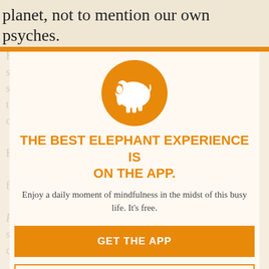planet, not to mention our own psyches.
[Figure (illustration): Watermark background text visible behind modal overlay, showing Buddhist/mindfulness article content in faded orange/tan tones]
THE BEST ELEPHANT EXPERIENCE IS ON THE APP.
Enjoy a daily moment of mindfulness in the midst of this busy life. It's free.
GET THE APP
OPEN IN APP